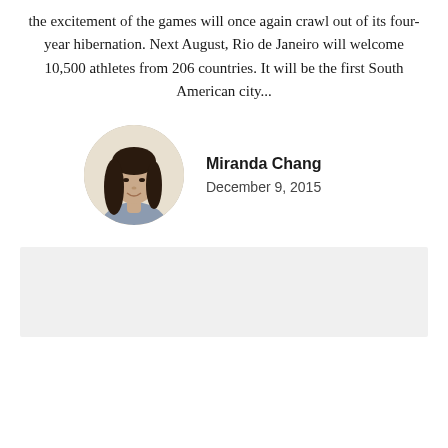the excitement of the games will once again crawl out of its four-year hibernation. Next August, Rio de Janeiro will welcome 10,500 athletes from 206 countries. It will be the first South American city...
[Figure (photo): Circular portrait photo of Miranda Chang, a young woman with long dark hair, smiling, against a light background]
Miranda Chang
December 9, 2015
[Figure (other): Gray rectangular box, likely an advertisement or placeholder content area]